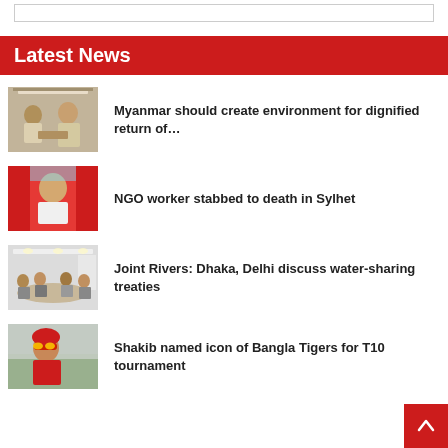Latest News
[Figure (photo): Two people meeting in an office setting]
Myanmar should create environment for dignified return of…
[Figure (photo): Headshot of a man in white shirt against red background]
NGO worker stabbed to death in Sylhet
[Figure (photo): A meeting room with people seated around a table]
Joint Rivers: Dhaka, Delhi discuss water-sharing treaties
[Figure (photo): Cricket player in red outfit with sunglasses]
Shakib named icon of Bangla Tigers for T10 tournament